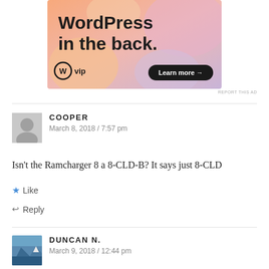[Figure (other): WordPress VIP advertisement banner with colorful blob background, text 'WordPress in the back.', WordPress VIP logo, and 'Learn more →' button]
REPORT THIS AD
COOPER
March 8, 2018 / 7:57 pm
Isn't the Ramcharger 8 a 8-CLD-B? It says just 8-CLD
★ Like
↩ Reply
DUNCAN N.
March 9, 2018 / 12:44 pm